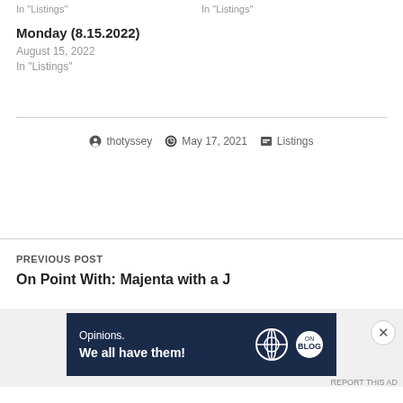In "Listings"   In "Listings"
Monday (8.15.2022)
August 15, 2022
In "Listings"
thotyssey   May 17, 2021   Listings
PREVIOUS POST
On Point With: Majenta with a J
Advertisements
[Figure (other): WordPress advertisement banner reading 'Opinions. We all have them!' with WordPress and Atavist logos on dark navy background]